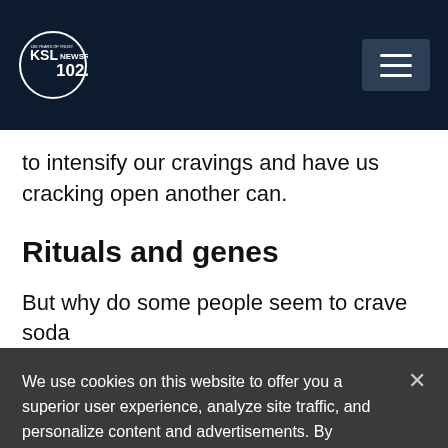KSL NewsRadio 102.7FM
to intensify our cravings and have us cracking open another can.
Rituals and genes
But why do some people seem to crave soda
We use cookies on this website to offer you a superior user experience, analyze site traffic, and personalize content and advertisements. By continuing to use our site, you consent to our use of cookies. Please visit our Privacy Policy for more information.
Accept Cookies